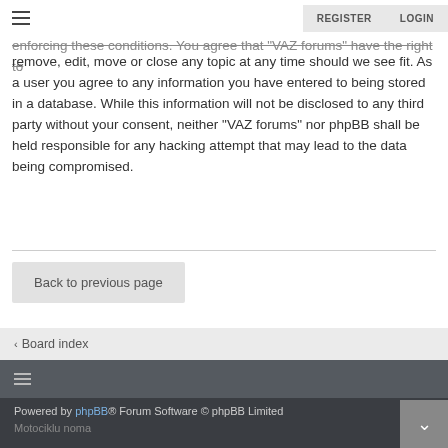REGISTER  LOGIN
enforcing these conditions. You agree that “VAZ forums” have the right to remove, edit, move or close any topic at any time should we see fit. As a user you agree to any information you have entered to being stored in a database. While this information will not be disclosed to any third party without your consent, neither “VAZ forums” nor phpBB shall be held responsible for any hacking attempt that may lead to the data being compromised.
Back to previous page
Board index
Powered by phpBB® Forum Software © phpBB Limited
Motociklu noma